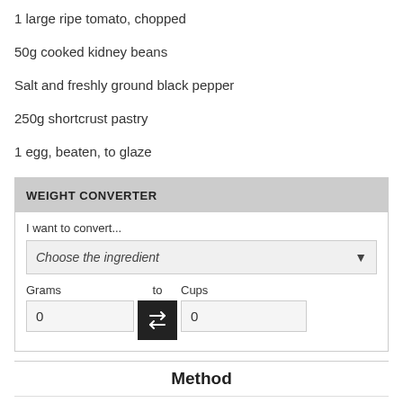1 large ripe tomato, chopped
50g cooked kidney beans
Salt and freshly ground black pepper
250g shortcrust pastry
1 egg, beaten, to glaze
WEIGHT CONVERTER
I want to convert...
Choose the ingredient
Grams
to
Cups
0
0
Method